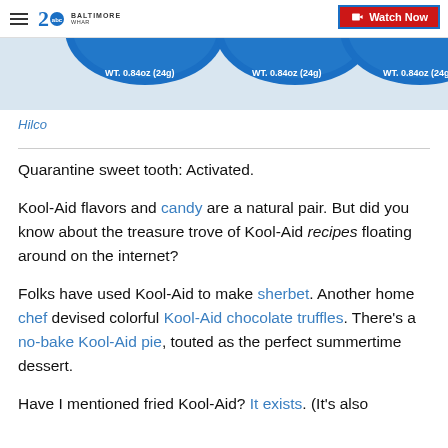2 ABC BALTIMORE WHAR | Watch Now
[Figure (photo): Three circular Kool-Aid lids partially visible showing 'WT. 0.84oz (24g)' text on blue packaging]
Hilco
Quarantine sweet tooth: Activated.
Kool-Aid flavors and candy are a natural pair. But did you know about the treasure trove of Kool-Aid recipes floating around on the internet?
Folks have used Kool-Aid to make sherbet. Another home chef devised colorful Kool-Aid chocolate truffles. There’s a no-bake Kool-Aid pie, touted as the perfect summertime dessert.
Have I mentioned fried Kool-Aid? It exists. (It’s also